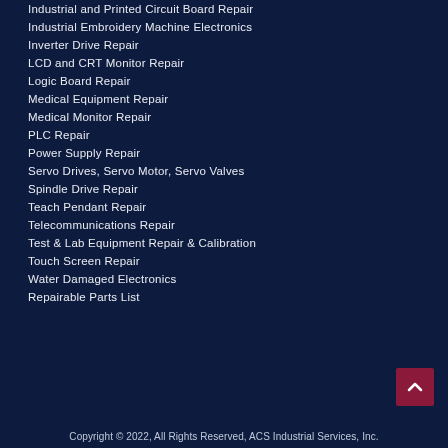Industrial and Printed Circuit Board Repair
Industrial Embroidery Machine Electronics
Inverter Drive Repair
LCD and CRT Monitor Repair
Logic Board Repair
Medical Equipment Repair
Medical Monitor Repair
PLC Repair
Power Supply Repair
Servo Drives, Servo Motor, Servo Valves
Spindle Drive Repair
Teach Pendant Repair
Telecommunications Repair
Test & Lab Equipment Repair & Calibration
Touch Screen Repair
Water Damaged Electronics
Repairable Parts List
Copyright © 2022, All Rights Reserved, ACS Industrial Services, Inc.